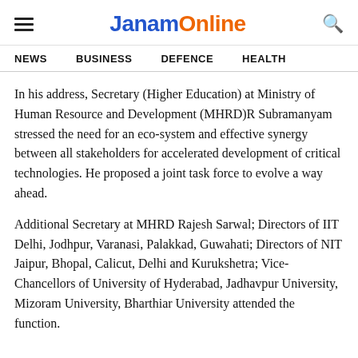JanamOnline
NEWS   BUSINESS   DEFENCE   HEALTH
In his address, Secretary (Higher Education) at Ministry of Human Resource and Development (MHRD)R Subramanyam stressed the need for an eco-system and effective synergy between all stakeholders for accelerated development of critical technologies. He proposed a joint task force to evolve a way ahead.
Additional Secretary at MHRD Rajesh Sarwal; Directors of IIT Delhi, Jodhpur, Varanasi, Palakkad, Guwahati; Directors of NIT Jaipur, Bhopal, Calicut, Delhi and Kurukshetra; Vice-Chancellors of University of Hyderabad, Jadhavpur University, Mizoram University, Bharthiar University attended the function.